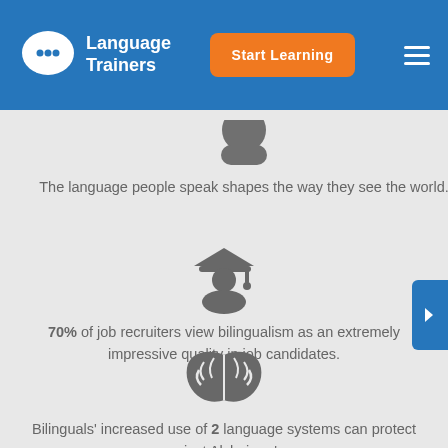[Figure (logo): Language Trainers logo with globe chat bubble icon and text]
The language people speak shapes the way they see the world.
[Figure (illustration): Graduation cap icon with person silhouette]
70% of job recruiters view bilingualism as an extremely impressive quality in job candidates.
[Figure (illustration): Brain icon]
Bilinguals' increased use of 2 language systems can protect against Alzheimer's.